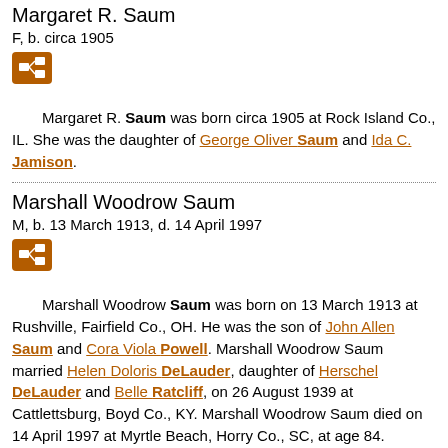Margaret R. Saum
F, b. circa 1905
Margaret R. Saum was born circa 1905 at Rock Island Co., IL. She was the daughter of George Oliver Saum and Ida C. Jamison.
Marshall Woodrow Saum
M, b. 13 March 1913, d. 14 April 1997
Marshall Woodrow Saum was born on 13 March 1913 at Rushville, Fairfield Co., OH. He was the son of John Allen Saum and Cora Viola Powell. Marshall Woodrow Saum married Helen Doloris DeLauder, daughter of Herschel DeLauder and Belle Ratcliff, on 26 August 1939 at Cattlettsburg, Boyd Co., KY. Marshall Woodrow Saum died on 14 April 1997 at Myrtle Beach, Horry Co., SC, at age 84.
Martha Helen Saum
F, b. 19 May 1861